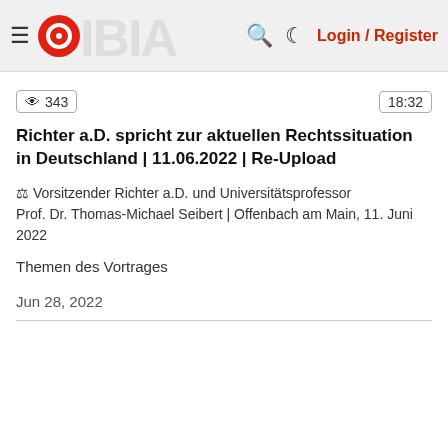≡ [Logo] 🔍 ☾ Login / Register
👁 343 | 18:32
Richter a.D. spricht zur aktuellen Rechtssituation in Deutschland | 11.06.2022 | Re-Upload
⚖ Vorsitzender Richter a.D. und Universitätsprofessor Prof. Dr. Thomas-Michael Seibert | Offenbach am Main, 11. Juni 2022
Themen des Vortrages
Jun 28, 2022